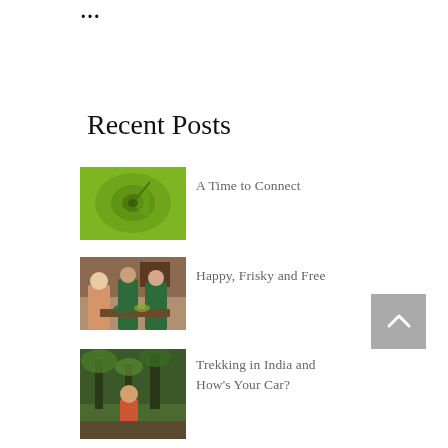…
Recent Posts
[Figure (photo): Close-up of a bright green spiral leaf or plant]
A Time to Connect
[Figure (photo): Three women preparing food together in a kitchen]
Happy, Frisky and Free
[Figure (photo): A person in a forest or outdoor setting with trees]
Trekking in India and How's Your Car?